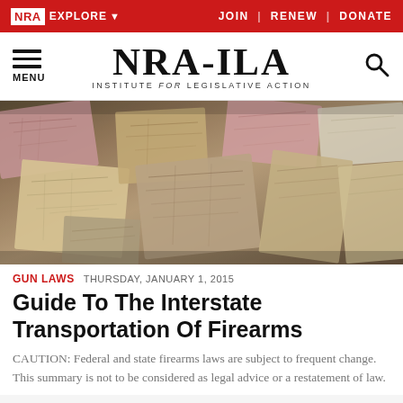NRA EXPLORE ▼   JOIN | RENEW | DONATE
NRA-ILA INSTITUTE for LEGISLATIVE ACTION
[Figure (photo): A pile of colorful antique map fragments and pieces scattered together, showing various old cartographic styles in pink, beige, tan, and muted colors.]
GUN LAWS   THURSDAY, JANUARY 1, 2015
Guide To The Interstate Transportation Of Firearms
CAUTION: Federal and state firearms laws are subject to frequent change. This summary is not to be considered as legal advice or a restatement of law.